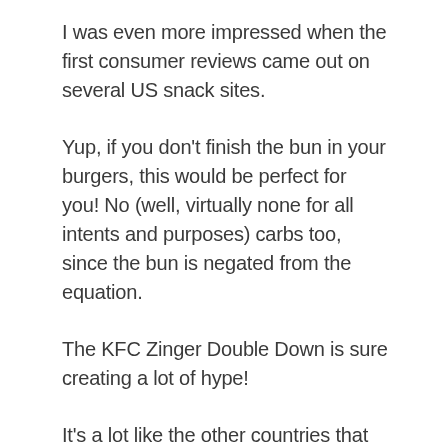I was even more impressed when the first consumer reviews came out on several US snack sites.
Yup, if you don't finish the bun in your burgers, this would be perfect for you! No (well, virtually none for all intents and purposes) carbs too, since the bun is negated from the equation.
The KFC Zinger Double Down is sure creating a lot of hype!
It's a lot like the other countries that had the Double Down sandwich, the buzz is awesome and the burger lives up to all the buzz so it's all good.